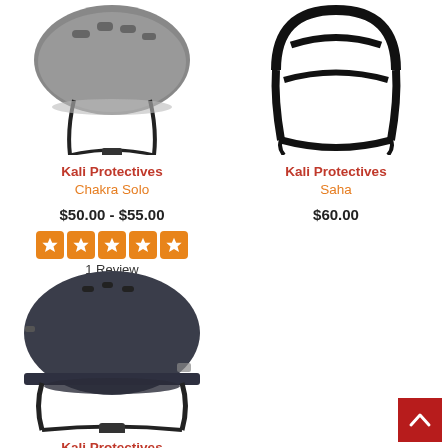[Figure (photo): Kali Protectives Chakra Solo bicycle helmet - grey/black, viewed from side, top portion only]
Kali Protectives
Chakra Solo
$50.00 - $55.00
[Figure (other): 5-star rating display with orange star icons]
1 Review
[Figure (photo): Kali Protectives Saha bicycle helmet - black open frame design, viewed from side]
Kali Protectives
Saha
$60.00
[Figure (photo): Kali Protectives bicycle helmet - dark grey/navy, full round commuter style, viewed from side with chin straps]
Kali Protectives